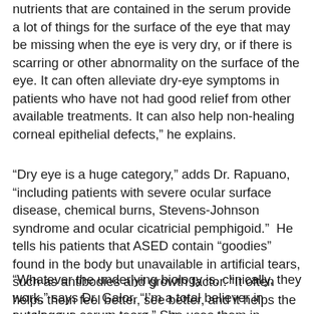nutrients that are contained in the serum provide a lot of things for the surface of the eye that may be missing when the eye is very dry, or if there is scarring or other abnormality on the surface of the eye. It can often alleviate dry-eye symptoms in patients who have not had good relief from other available treatments. It can also help non-healing corneal epithelial defects,” he explains.
“Dry eye is a huge category,” adds Dr. Rapuano, “including patients with severe ocular surface disease, chemical burns, Stevens-Johnson syndrome and ocular cicatricial pemphigoid.”  He tells his patients that ASED contain “goodies” found in the body but unavailable in artificial tears, such as antibodies and growth factor. “It often helps them feel better, see better, and it helps the health of the ocular surface.”
“Whatever the underlying biology is, clinically, they work,” says Dr. Galor. “I’m a total believer in autologous serum tears.” She uses them in patients with neuropathic eye pain,